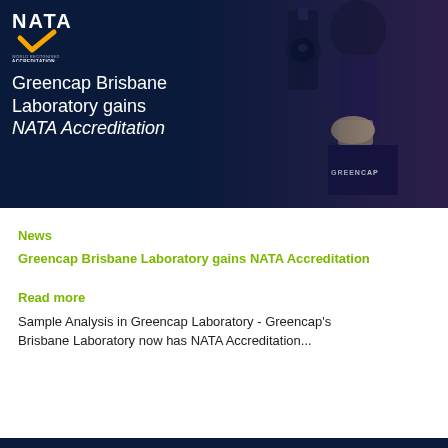[Figure (photo): Hero banner image showing a Greencap laboratory worker using a microscope, with dark navy blue overlay on the left side and NATA logo. Text overlay reads 'Greencap Brisbane Laboratory gains NATA Accreditation'.]
Greencap Brisbane Laboratory gains NATA Accreditation
News
Greencap Brisbane Laboratory gains NATA Accreditation
Read more
Sample Analysis in Greencap Laboratory - Greencap's Brisbane Laboratory now has NATA Accreditation...